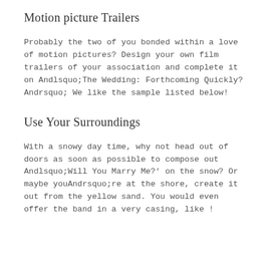Motion picture Trailers
Probably the two of you bonded within a love of motion pictures? Design your own film trailers of your association and complete it on Andlsquo;The Wedding: Forthcoming Quickly?Andrsquo; We like the sample listed below!
Use Your Surroundings
With a snowy day time, why not head out of doors as soon as possible to compose out Andlsquo;Will You Marry Me?' on the snow? Or maybe youAndrsquo;re at the shore, create it out from the yellow sand. You would even offer the band in a very casing, like !